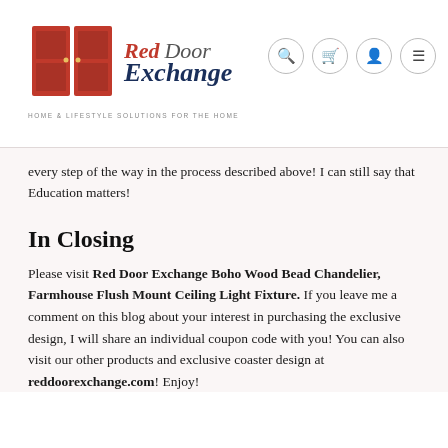Red Door Exchange — logo and navigation header
every step of the way in the process described above! I can still say that Education matters!
In Closing
Please visit Red Door Exchange Boho Wood Bead Chandelier, Farmhouse Flush Mount Ceiling Light Fixture. If you leave me a comment on this blog about your interest in purchasing the exclusive design, I will share an individual coupon code with you! You can also visit our other products and exclusive coaster design at reddoorexchange.com! Enjoy!